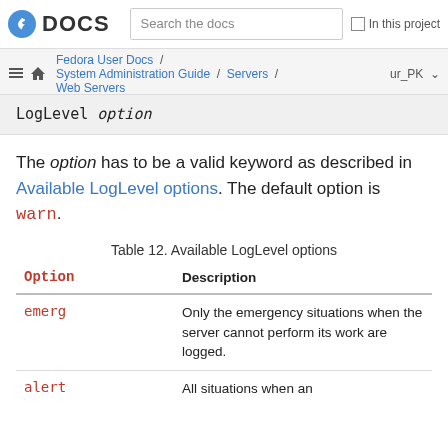Fedora DOCS | Search the docs | In this project | Fedora User Docs / System Administration Guide / Servers / Web Servers | ur_PK
The option has to be a valid keyword as described in Available LogLevel options. The default option is warn.
Table 12. Available LogLevel options
| Option | Description |
| --- | --- |
| emerg | Only the emergency situations when the server cannot perform its work are logged. |
| alert | All situations when an |